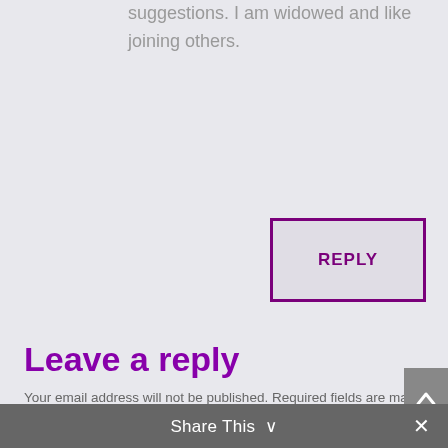suggestions. I am widowed and like joining others.
REPLY
Leave a reply
Your email address will not be published. Required fields are marked *
COMMENT
Share This ∨  ✕